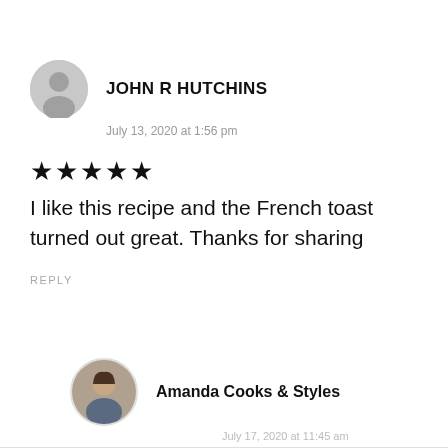[Figure (illustration): Gray circular avatar icon with silhouette of a person]
JOHN R HUTCHINS
July 13, 2020 at 1:56 pm
★★★★★
I like this recipe and the French toast turned out great. Thanks for sharing
REPLY
[Figure (photo): Circular profile photo of Amanda Cooks & Styles, a woman with dark hair]
Amanda Cooks & Styles
July 17, 2020 at 11:45 am